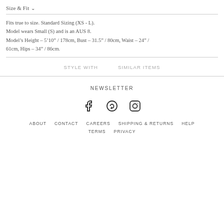Size & Fit ∨
Fits true to size. Standard Sizing (XS - L).
Model wears Small (S) and is an AUS 8.
Model's Height – 5'10" / 178cm, Bust – 31.5" / 80cm, Waist – 24" / 61cm, Hips – 34" / 86cm.
STYLE WITH    SIMILAR ITEMS
NEWSLETTER
[Figure (other): Social media icons: Facebook, Pinterest, Instagram]
ABOUT   CONTACT   CAREERS   SHIPPING & RETURNS   HELP   TERMS   PRIVACY